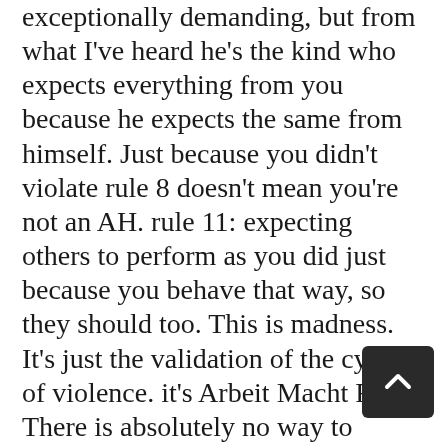exceptionally demanding, but from what I've heard he's the kind who expects everything from you because he expects the same from himself. Just because you didn't violate rule 8 doesn't mean you're not an AH. rule 11: expecting others to perform as you did just because you behave that way, so they should too. This is madness. It's just the validation of the cycle of violence. it's Arbeit Macht Frei. There is absolutely no way to actually judge if someone is performing as you did, and no way in heck that you accurately remember or portray your own behavior.